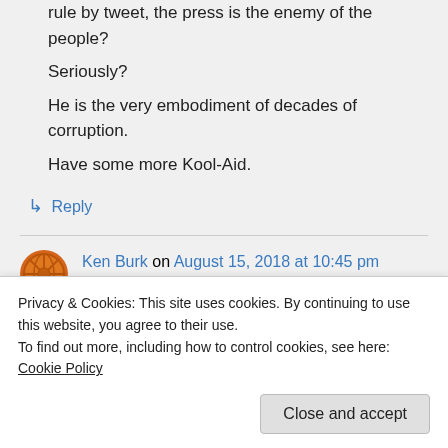rule by tweet, the press is the enemy of the people? Seriously? He is the very embodiment of decades of corruption. Have some more Kool-Aid.
↳ Reply
Ken Burk on August 15, 2018 at 10:45 pm
Privacy & Cookies: This site uses cookies. By continuing to use this website, you agree to their use. To find out more, including how to control cookies, see here: Cookie Policy
Close and accept